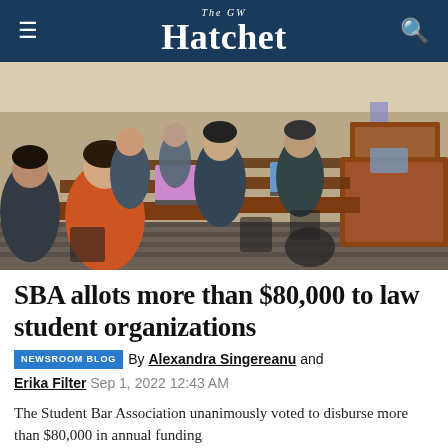The GW Hatchet
[Figure (photo): Students sitting at desks with laptops open in a classroom or courtroom-style setting, with a wooden podium or bench visible at the front right. People wearing masks. Photo taken from the back of the room.]
SBA allots more than $80,000 to law student organizations
NEWSROOM BLOG By Alexandra Singereanu and Erika Filter Sep 1, 2022 12:43 AM
The Student Bar Association unanimously voted to disburse more than $80,000 in annual funding